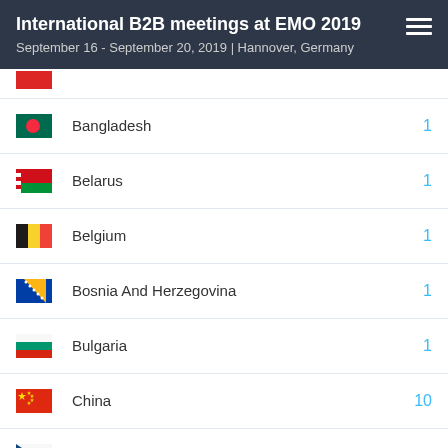International B2B meetings at EMO 2019
September 16 - September 20, 2019 | Hannover, Germany
Bangladesh 1
Belarus 1
Belgium 1
Bosnia And Herzegovina 1
Bulgaria 1
China 10
Czech Republic 10
France 5